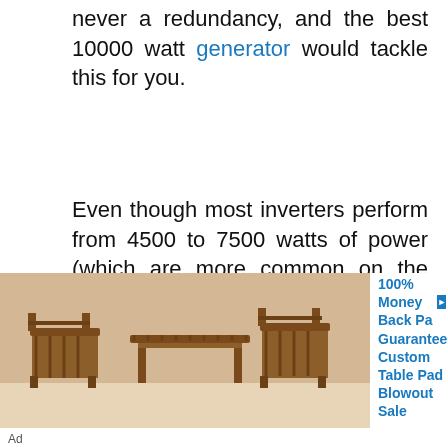never a redundancy, and the best 10000 watt generator would tackle this for you.
Even though most inverters perform from 4500 to 7500 watts of power (which are more common on the market, so they are also reasonably affordable), 10000 watt generators are more efficient for businesses and large houses. And they may be expensive yet they indeed have a wide range of easy-to-use features and some are
[Figure (photo): Advertisement photo showing wooden outdoor furniture (chairs and table), with ad text: 100% Money Back Guarantee - Custom Table Pad Blowout Sale]